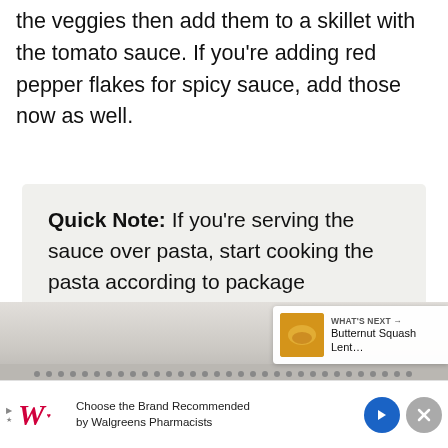the veggies then add them to a skillet with the tomato sauce. If you're adding red pepper flakes for spicy sauce, add those now as well.
Quick Note: If you're serving the sauce over pasta, start cooking the pasta according to package instructions now.
[Figure (photo): Partial view of cooking surface or skillet, partially obscured]
[Figure (other): What's Next pill showing Butternut Squash Lent... with food thumbnail]
[Figure (other): Advertisement bar: Walgreens - Choose the Brand Recommended by Walgreens Pharmacists]